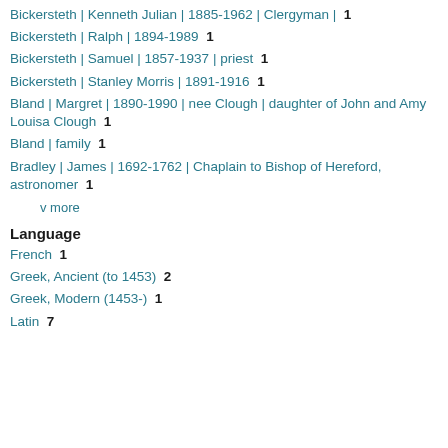Bickersteth | Kenneth Julian | 1885-1962 | Clergyman |  1
Bickersteth | Ralph | 1894-1989  1
Bickersteth | Samuel | 1857-1937 | priest  1
Bickersteth | Stanley Morris | 1891-1916  1
Bland | Margret | 1890-1990 | nee Clough | daughter of John and Amy Louisa Clough  1
Bland | family  1
Bradley | James | 1692-1762 | Chaplain to Bishop of Hereford, astronomer  1
v more
Language
French  1
Greek, Ancient (to 1453)  2
Greek, Modern (1453-)  1
Latin  7